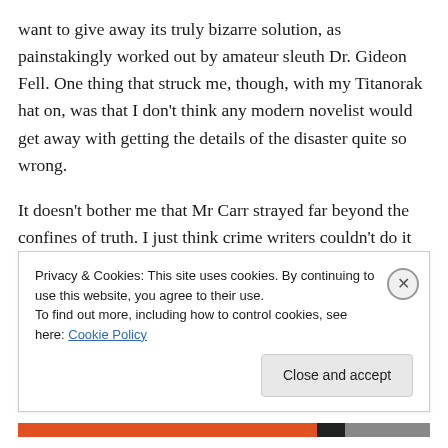want to give away its truly bizarre solution, as painstakingly worked out by amateur sleuth Dr. Gideon Fell. One thing that struck me, though, with my Titanorak hat on, was that I don't think any modern novelist would get away with getting the details of the disaster quite so wrong.
It doesn't bother me that Mr Carr strayed far beyond the confines of truth. I just think crime writers couldn't do it these days, when – thanks to Walter Lord, James Cameron, and many others – their readers would probably
Privacy & Cookies: This site uses cookies. By continuing to use this website, you agree to their use.
To find out more, including how to control cookies, see here: Cookie Policy